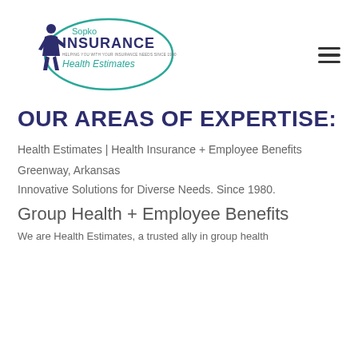[Figure (logo): Sopko Insurance Health Estimates logo with teal oval outline and figure of businessman, text reads 'Sopko INSURANCE HELPING YOU WITH YOUR INSURANCE NEEDS SINCE 1980 Health Estimates']
OUR AREAS OF EXPERTISE:
Health Estimates | Health Insurance + Employee Benefits
Greenway, Arkansas
Innovative Solutions for Diverse Needs. Since 1980.
Group Health + Employee Benefits
We are Health Estimates, a trusted ally in group health